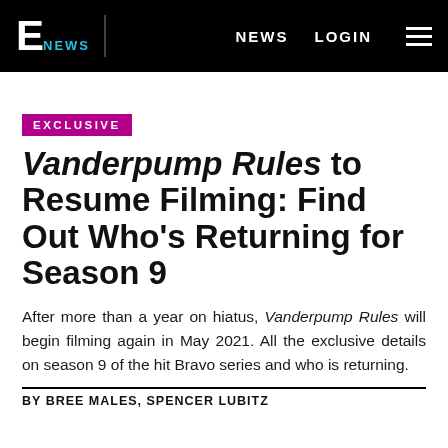E NEWS  NEWS  LOGIN
EXCLUSIVE
Vanderpump Rules to Resume Filming: Find Out Who's Returning for Season 9
After more than a year on hiatus, Vanderpump Rules will begin filming again in May 2021. All the exclusive details on season 9 of the hit Bravo series and who is returning.
By BREE MALES, SPENCER LUBITZ